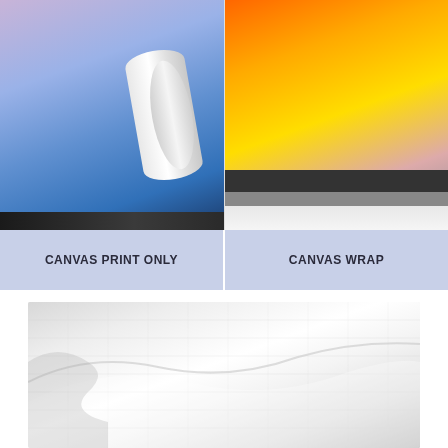[Figure (photo): Two product type options shown side by side: left shows a rolled canvas print, right shows a canvas wrap with thick stretcher bars. Labels below read CANVAS PRINT ONLY and CANVAS WRAP on blue-purple background.]
[Figure (photo): Close-up photo of white canvas fabric texture showing woven surface and a rolled curl edge, demonstrating the material quality.]